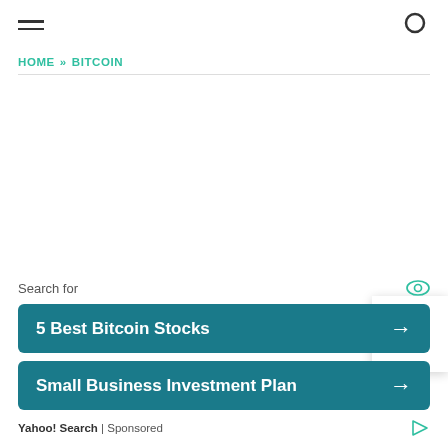HOME » BITCOIN
[Figure (other): Advertisement / sponsored search widget showing 'Search for' header with eye icon, two teal buttons: '5 Best Bitcoin Stocks' and 'Small Business Investment Plan', and Yahoo! Search | Sponsored footer]